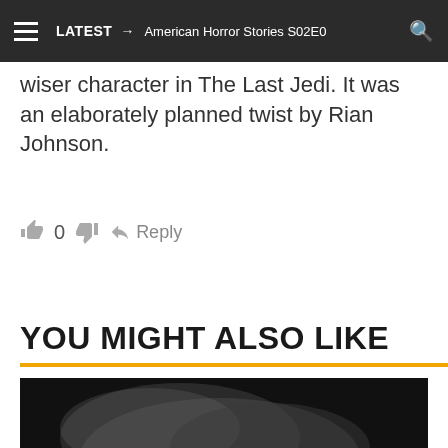LATEST → American Horror Stories S02E0
wiser character in The Last Jedi. It was an elaborately planned twist by Rian Johnson.
👍 0 👎 ↪ Reply
YOU MIGHT ALSO LIKE
[Figure (photo): Dark moody image with smoke and a partial view of a hand holding an object, associated with a related article.]